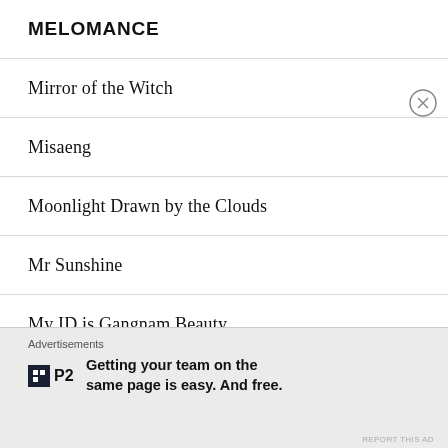MELOMANCE
Mirror of the Witch
Misaeng
Moonlight Drawn by the Clouds
Mr Sunshine
My ID is Gangnam Beauty
My Introverted Boss
Advertisements
Getting your team on the same page is easy. And free.